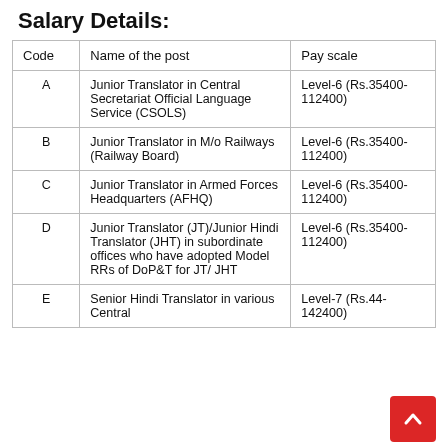Salary Details:
| Code | Name of the post | Pay scale |
| --- | --- | --- |
| A | Junior Translator in Central Secretariat Official Language Service (CSOLS) | Level-6 (Rs.35400-112400) |
| B | Junior Translator in M/o Railways (Railway Board) | Level-6 (Rs.35400-112400) |
| C | Junior Translator in Armed Forces Headquarters (AFHQ) | Level-6 (Rs.35400-112400) |
| D | Junior Translator (JT)/Junior Hindi Translator (JHT) in subordinate offices who have adopted Model RRs of DoP&T for JT/ JHT | Level-6 (Rs.35400-112400) |
| E | Senior Hindi Translator in various Central | Level-7 (Rs.44-142400) |